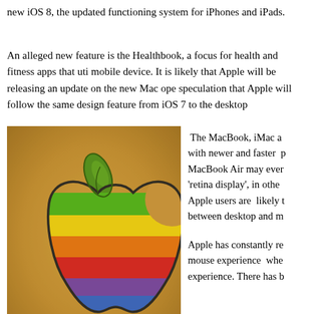new iOS 8, the updated functioning system for iPhones and iPads.
An alleged new feature is the Healthbook, a focus for health and fitness apps that uti mobile device. It is likely that Apple will be releasing an update on the new Mac ope speculation that Apple will follow the same design feature from iOS 7 to the desktop
[Figure (photo): Rainbow Apple logo pin/badge on a golden textured background]
The MacBook, iMac a with newer and faster p MacBook Air may ever 'retina display', in othe Apple users are likely t between desktop and m
Apple has constantly re mouse experience whe experience. There has b
to Siri and a more improved iCloud support to handle services like Dropbox, Micro offering. Apple are particularly secretive and may just slip in a few surprises at this y
It is yet to be seen what the tech world has to offer! Apple has changed the way in w because of developers and the apps they create. They write the code. And change th